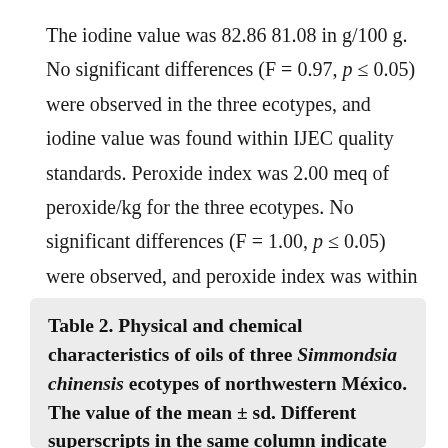The iodine value was 82.86 81.08 in g/100 g. No significant differences (F = 0.97, p ≤ 0.05) were observed in the three ecotypes, and iodine value was found within IJEC quality standards. Peroxide index was 2.00 meq of peroxide/kg for the three ecotypes. No significant differences (F = 1.00, p ≤ 0.05) were observed, and peroxide index was within IJEC quality standards.
Table 2. Physical and chemical characteristics of oils of three Simmondsia chinensis ecotypes of northwestern México. The value of the mean ± sd. Different superscripts in the same column indicate significant